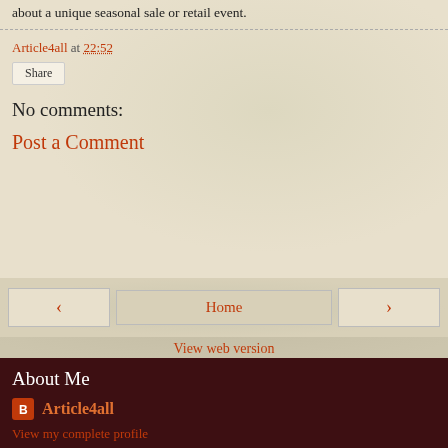about a unique seasonal sale or retail event.
Article4all at 22:52
Share
No comments:
Post a Comment
< Home >
View web version
About Me
Article4all
View my complete profile
Powered by Blogger.